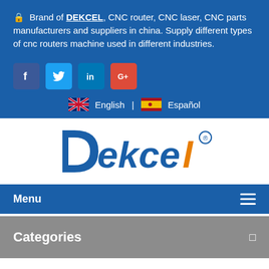🔒 Brand of DEKCEL, CNC router, CNC laser, CNC parts manufacturers and suppliers in china. Supply different types of cnc routers machine used in different industries.
[Figure (infographic): Social media icons: Facebook (blue), Twitter (light blue), LinkedIn (dark blue), Google+ (red)]
🇬🇧 English | 🇪🇸 Español
[Figure (logo): Dekcel logo with stylized blue and orange lettering and registered trademark symbol]
Menu
Categories